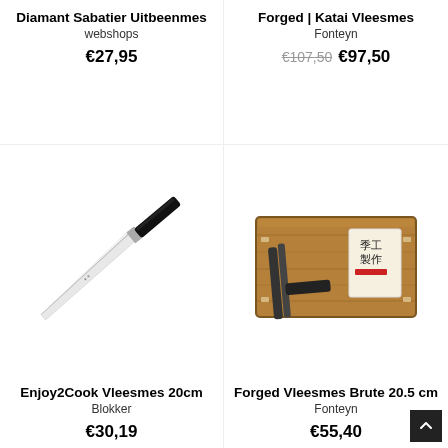Diamant Sabatier Uitbeenmes
webshops
€27,95
[Figure (photo): A Japanese boning/utility knife with a silver blade and black handle, photographed diagonally on a white background. Small brand logo visible on blade.]
Enjoy2Cook Vleesmes 20cm
Blokker
€30,19
Forged | Katai Vleesmes
Fonteyn
€107,50  €97,50
[Figure (photo): A dark-bladed Japanese knife with a hammered/textured blade and wooden handle, presented in an open rustic wooden box with Japanese characters on a label. Photographed on white background.]
Forged Vleesmes Brute 20.5 cm
Fonteyn
€55,40